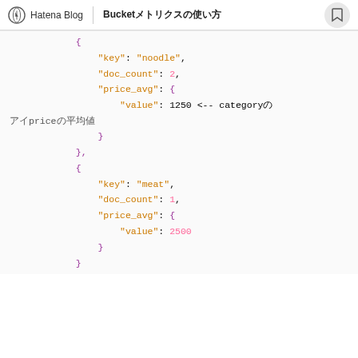Hatena Blog | BucketMetrics（の使い方）
JSON code block showing Elasticsearch bucket metrics response with noodle and meat categories